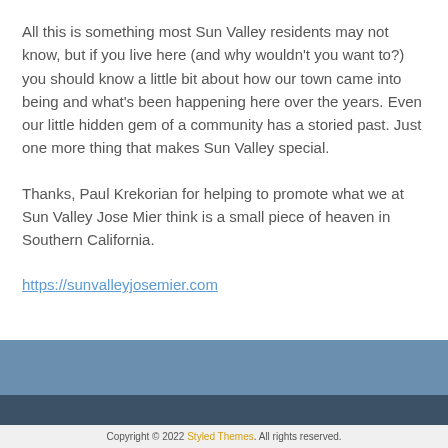All this is something most Sun Valley residents may not know, but if you live here (and why wouldn't you want to?) you should know a little bit about how our town came into being and what's been happening here over the years. Even our little hidden gem of a community has a storied past. Just one more thing that makes Sun Valley special.
Thanks, Paul Krekorian for helping to promote what we at Sun Valley Jose Mier think is a small piece of heaven in Southern California.
https://sunvalleyjosemier.com
Copyright © 2022 Styled Themes. All rights reserved.